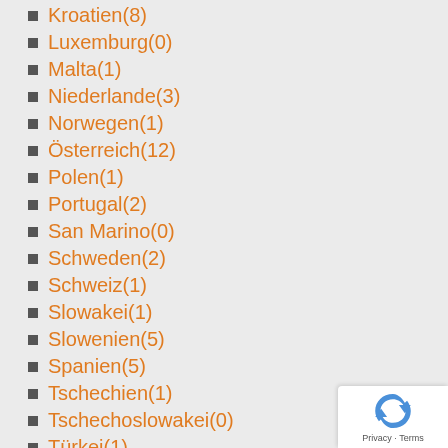Kroatien(8)
Luxemburg(0)
Malta(1)
Niederlande(3)
Norwegen(1)
Österreich(12)
Polen(1)
Portugal(2)
San Marino(0)
Schweden(2)
Schweiz(1)
Slowakei(1)
Slowenien(5)
Spanien(5)
Tschechien(1)
Tschechoslowakei(0)
Türkei(1)
Ungarn(2)
Vatikan(1)